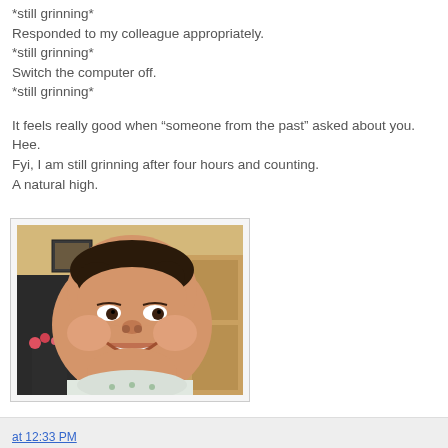*still grinning*
Responded to my colleague appropriately.
*still grinning*
Switch the computer off.
*still grinning*
It feels really good when “someone from the past” asked about you.
Hee.
Fyi, I am still grinning after four hours and counting.
A natural high.
[Figure (photo): A smiling baby with chubby cheeks looking at the camera, wearing a white bib, indoor background]
at 12:33 PM